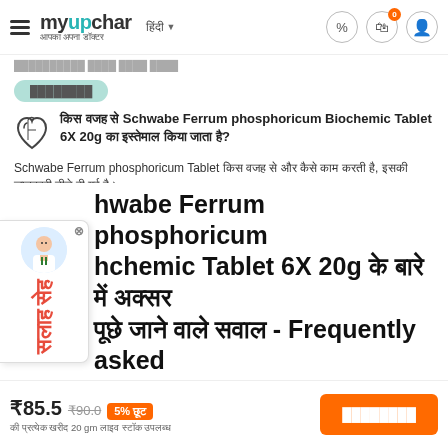myUpchar - आपका अपना डॉक्टर
[breadcrumb navigation in Hindi]
[Hindi pill button text]
किस वजह से Schwabe Ferrum phosphoricum Biochemic Tablet 6X 20g का इस्तेमाल किया जाता है?
Schwabe Ferrum phosphoricum Tablet किस वजह से और कैसे काम करती है, इसकी जानकारी नीचे दी गई है।
[second Hindi pill button]
Schwabe Ferrum phosphoricum Biochemic Tablet 6X 20g के बारे में अक्सर पूछे जाने वाले सवाल - Frequently asked
₹85.5  ₹90.0  5% छूट
की प्रत्येक खरीद 20 gm लाइव स्टॉक उपलब्ध